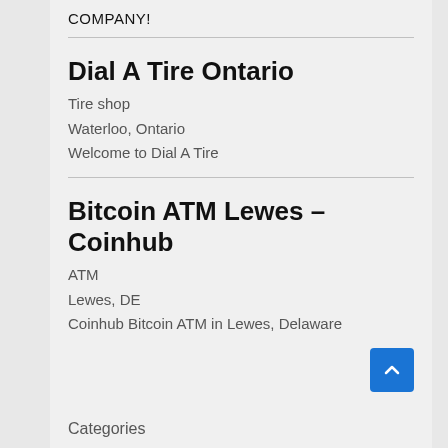COMPANY!
Dial A Tire Ontario
Tire shop
Waterloo, Ontario
Welcome to Dial A Tire
Bitcoin ATM Lewes – Coinhub
ATM
Lewes, DE
Coinhub Bitcoin ATM in Lewes, Delaware
Categories